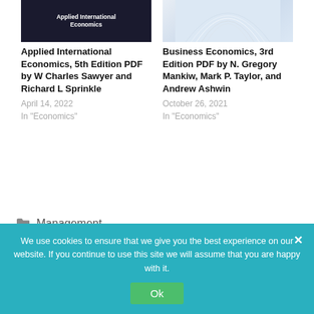[Figure (photo): Book cover for Applied International Economics with dark background and white text]
Applied International Economics, 5th Edition PDF by W Charles Sawyer and Richard L Sprinkle
April 14, 2022
In "Economics"
[Figure (photo): Book cover for Business Economics with architectural arch design on light blue background]
Business Economics, 3rd Edition PDF by N. Gregory Mankiw, Mark P. Taylor, and Andrew Ashwin
October 26, 2021
In "Economics"
Management
< Fundamentals of Corporate Finance,
We use cookies to ensure that we give you the best experience on our website. If you continue to use this site we will assume that you are happy with it.
Ok